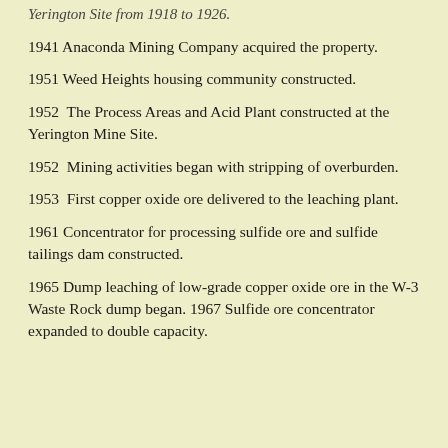Yerington Site from 1918 to 1926.
1941 Anaconda Mining Company acquired the property.
1951 Weed Heights housing community constructed.
1952  The Process Areas and Acid Plant constructed at the Yerington Mine Site.
1952  Mining activities began with stripping of overburden.
1953  First copper oxide ore delivered to the leaching plant.
1961 Concentrator for processing sulfide ore and sulfide tailings dam constructed.
1965 Dump leaching of low-grade copper oxide ore in the W-3 Waste Rock dump began. 1967 Sulfide ore concentrator expanded to double capacity.